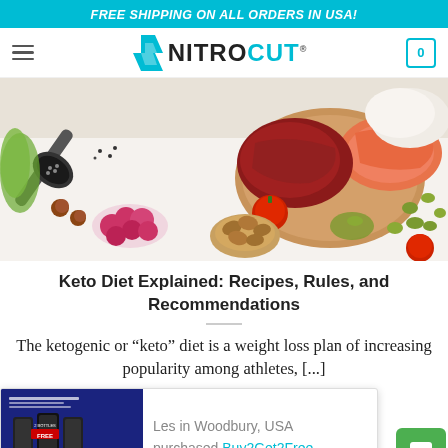FREE SHIPPING ON ALL ORDERS IN USA!
[Figure (logo): NitroCut logo with cyan arrow icon and bold text]
[Figure (photo): Overhead flat-lay photo of keto diet foods including meat, salmon, vegetables, nuts, raspberries, tomatoes, olives, and seeds on a white background]
Keto Diet Explained: Recipes, Rules, and Recommendations
The ketogenic or “keto” diet is a weight loss plan of increasing popularity among athletes, [...]
[Figure (screenshot): Popup notification showing product ad with text: Les in Woodbury, USA purchased Buy2Get2Free]
[Figure (other): Green chat button icon in bottom right corner]